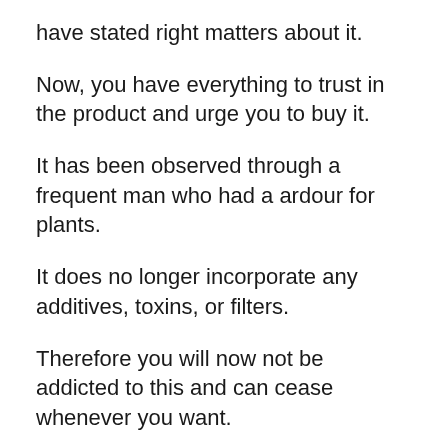have stated right matters about it.
Now, you have everything to trust in the product and urge you to buy it.
It has been observed through a frequent man who had a ardour for plants.
It does no longer incorporate any additives, toxins, or filters.
Therefore you will now not be addicted to this and can cease whenever you want.
Lastly, the organisation has truely stated that the consequences might also be